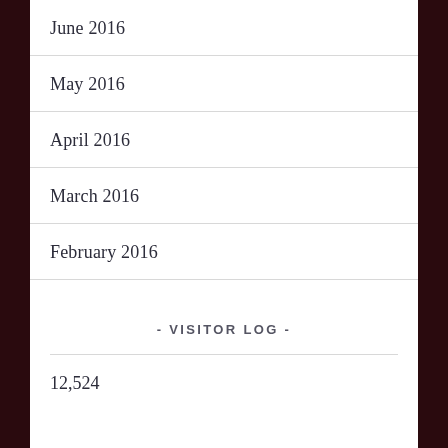June 2016
May 2016
April 2016
March 2016
February 2016
- VISITOR LOG -
12,524